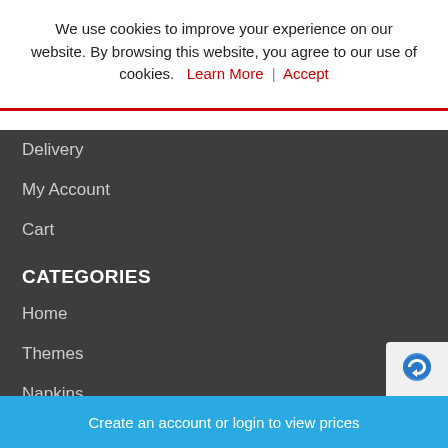We use cookies to improve your experience on our website. By browsing this website, you agree to our use of cookies. Learn More | Accept
Delivery
My Account
Cart
CATEGORIES
Home
Themes
Napkins
CONNECT WITH US
[Figure (logo): reCAPTCHA logo badge, partial view]
Create an account or login to view prices